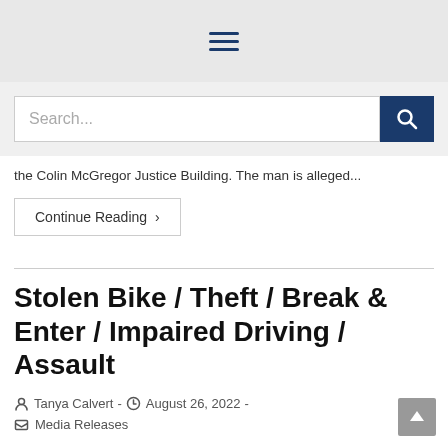[Figure (other): Hamburger menu icon (three horizontal lines) in gray top navigation bar]
[Figure (other): Search bar with placeholder text 'Search...' and a dark blue search button with magnifying glass icon]
the Colin McGregor Justice Building. The man is alleged...
Continue Reading >
Stolen Bike / Theft / Break & Enter / Impaired Driving / Assault
Tanya Calvert - August 26, 2022 - Media Releases